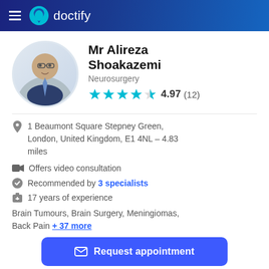doctify
Mr Alireza Shoakazemi
Neurosurgery
4.97 (12)
1 Beaumont Square Stepney Green, London, United Kingdom, E1 4NL - 4.83 miles
Offers video consultation
Recommended by 3 specialists
17 years of experience
Brain Tumours, Brain Surgery, Meningiomas, Back Pain + 37 more
Request appointment